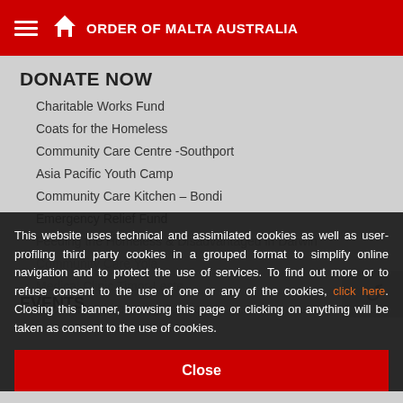ORDER OF MALTA AUSTRALIA
DONATE NOW
Charitable Works Fund
Coats for the Homeless
Community Care Centre -Southport
Asia Pacific Youth Camp
Community Care Kitchen – Bondi
Emergency Relief Fund
Feeding the Homeless & Disadvantaged in Darwin
Community Care Yola
Medical Clinic Timor-Leste
Recreational Learning Solutions
EVENTS
This website uses technical and assimilated cookies as well as user-profiling third party cookies in a grouped format to simplify online navigation and to protect the use of services. To find out more or to refuse consent to the use of one or any of the cookies, click here. Closing this banner, browsing this page or clicking on anything will be taken as consent to the use of cookies.
Close